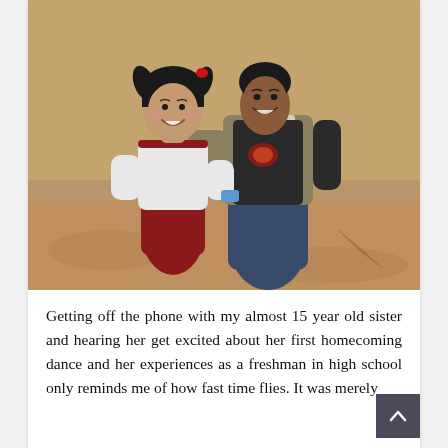[Figure (photo): Two females posing together on sandy ground. A young girl (about 4-5 years old) with dark hair in pigtails wearing a white long-sleeve shirt and red pants crouches on the left, smiling. An older teenage/young adult woman with dark hair wearing a khaki vest over a black shirt and blue jeans kneels on the right with her arm around the child, also smiling. The background is sandy/dirt ground.]
Getting off the phone with my almost 15 year old sister and hearing her get excited about her first homecoming dance and her experiences as a freshman in high school only reminds me of how fast time flies. It was merely